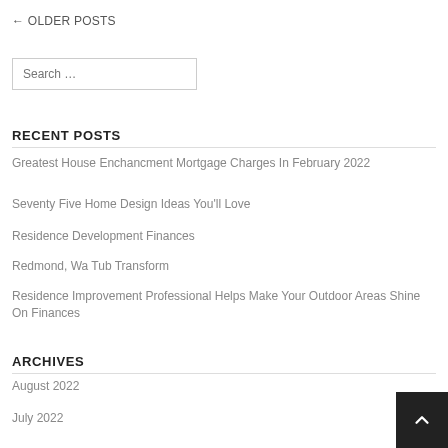← OLDER POSTS
Search …
RECENT POSTS
Greatest House Enchancment Mortgage Charges In February 2022
Seventy Five Home Design Ideas You'll Love
Residence Development Finances
Redmond, Wa Tub Transform
Residence Improvement Professional Helps Make Your Outdoor Areas Shine On Finances
ARCHIVES
August 2022
July 2022